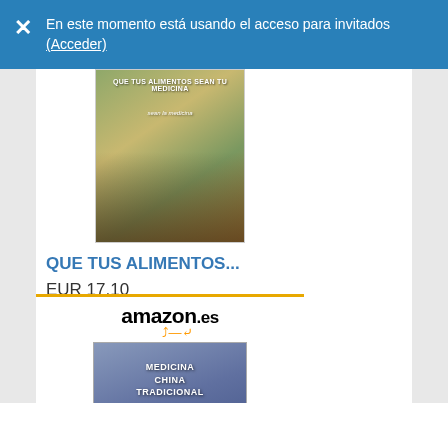En este momento está usando el acceso para invitados (Acceder)
[Figure (screenshot): Book product card showing 'QUE TUS ALIMENTOS...' priced at EUR 17,10 with a 'Comprar ahora' Amazon buy button]
[Figure (screenshot): Amazon.es product card for 'Medicina china tradicional...' book]